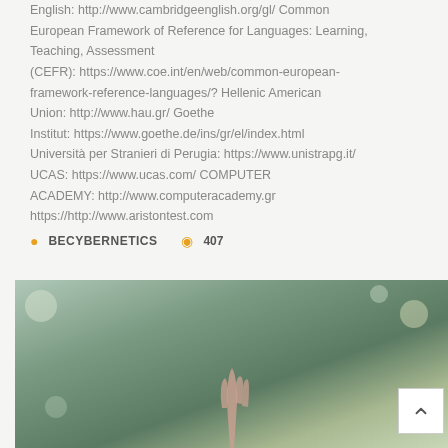English: http://www.cambridgeenglish.org/gl/ Common European Framework of Reference for Languages: Learning, Teaching, Assessment (CEFR): https://www.coe.int/en/web/common-european-framework-reference-languages/? Hellenic American Union: http://www.hau.gr/ Goethe Institut: https://www.goethe.de/ins/gr/el/index.html Università per Stranieri di Perugia: https://www.unistrapg.it/ UCAS: https://www.ucas.com/ COMPUTER ACADEMY: http://www.computeracademy.gr https://http://www.aristontest.com
BECYBERNETICS   407
[Figure (photo): Photo of a person raising their hand outdoors with a blurred green bokeh background]